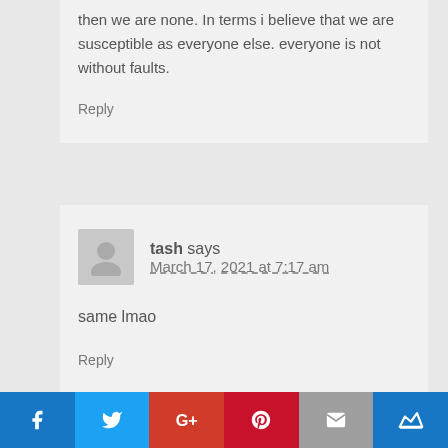then we are none. In terms i believe that we are susceptible as everyone else. everyone is not without faults.
Reply
tash says
March 17, 2021 at 7:17 am
same lmao
Reply